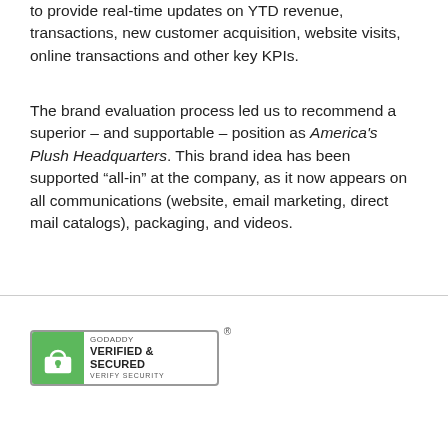to provide real-time updates on YTD revenue, transactions, new customer acquisition, website visits, online transactions and other key KPIs.
The brand evaluation process led us to recommend a superior – and supportable – position as America's Plush Headquarters. This brand idea has been supported ''all-in'' at the company, as it now appears on all communications (website, email marketing, direct mail catalogs), packaging, and videos.
[Figure (logo): GoDaddy Verified & Secured badge with green lock icon and 'Verify Security' text, with registered trademark symbol]